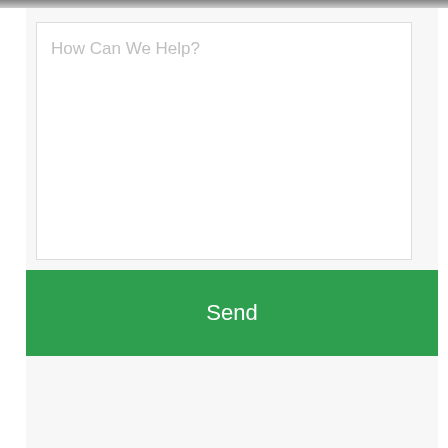[Figure (screenshot): A web contact form showing a large textarea with placeholder text 'How Can We Help?' and a green 'Send' button below it. The form sits on a light gray background. There is a dark shadow at the top of the visible area.]